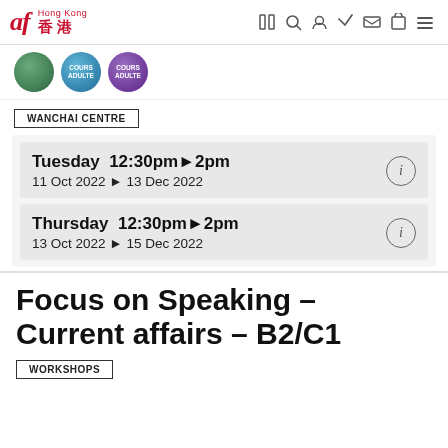af Hong Kong 香港
[Figure (illustration): Three circular avatar/course images in green, blue, and purple]
WANCHAI CENTRE
Tuesday  12:30pm▶2pm
11 Oct 2022 ▶ 13 Dec 2022
Thursday  12:30pm▶2pm
13 Oct 2022 ▶ 15 Dec 2022
Focus on Speaking – Current affairs – B2/C1
WORKSHOPS